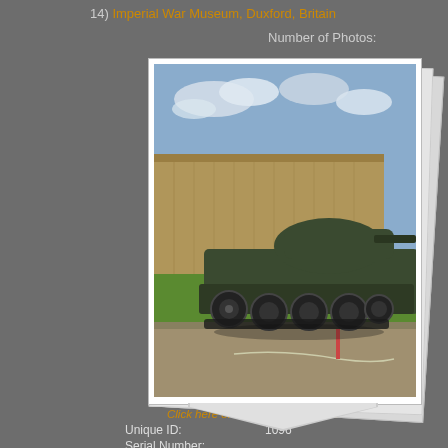14) Imperial War Museum, Duxford, Britain
Number of Photos:
[Figure (photo): Photograph of a military tank (Comet or Cromwell type) displayed outdoors at the Imperial War Museum, Duxford. The tank is dark olive green, shown from the side/front angle, with a large building visible in the background, parked on a gravel/paved area with green grass nearby, under a partly cloudy sky.]
Click here or on the image for this tank
| Unique ID: | 1096 |
| Serial Number: |  |
| Registration: | "11 ZH 11" painted on nose and re |